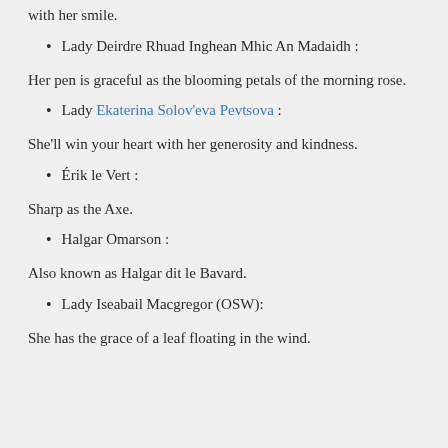with her smile.
Lady Deirdre Rhuad Inghean Mhic An Madaidh :
Her pen is graceful as the blooming petals of the morning rose.
Lady Ekaterina Solov'eva Pevtsova :
She'll win your heart with her generosity and kindness.
Érik le Vert :
Sharp as the Axe.
Halgar Omarson :
Also known as Halgar dit le Bavard.
Lady Iseabail Macgregor (OSW):
She has the grace of a leaf floating in the wind.